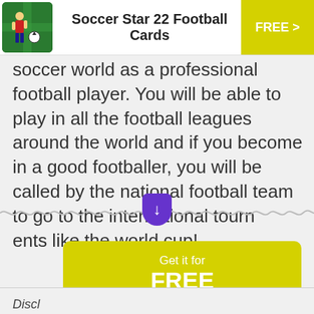Soccer Star 22 Football Cards  FREE >
soccer world as a professional football player. You will be able to play in all the football leagues around the world and if you become in a good footballer, you will be called by the national football team to go to the international tournaments like the world cup!
[Figure (infographic): Yellow-green CTA button with text: Get it for FREE in the App Store]
Disclaimer